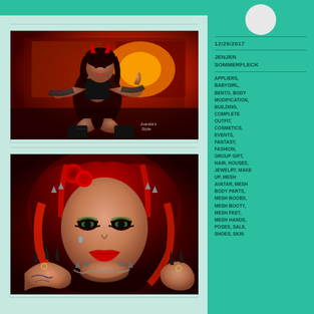[Figure (photo): Digital avatar/character photo: gothic-styled female avatar in black outfit with gloves kneeling on a red-lit stage floor, making a hand gesture. Dark fantasy aesthetic with warm orange/red lighting in background. Watermark visible in bottom right.]
[Figure (photo): Close-up digital avatar/character photo: female avatar face with dramatic makeup, red and black hair with rose adornment, gothic spiked accessories, long dark nails shown in foreground. Very detailed face and hair.]
12/29/2017
JENJEN SOMMERFLECK
APPLIERS, BABYGIRL, BENTO, BODY MODIFICATION, BUILDING, COMPLETE OUTFIT, COSMETICS, EVENTS, FANTASY, FASHION, GROUP GIFT, HAIR, HOUSES, JEWELRY, MAKE UP, MESH AVATAR, MESH BODY PARTS, MESH BOOBS, MESH BOOTY, MESH FEET, MESH HANDS, POSES, SALE, SHOES, SKIN